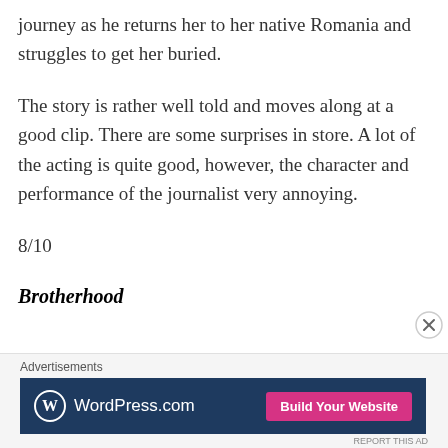journey as he returns her to her native Romania and struggles to get her buried.
The story is rather well told and moves along at a good clip. There are some surprises in store. A lot of the acting is quite good, however, the character and performance of the journalist very annoying.
8/10
Brotherhood
[Figure (other): WordPress.com advertisement banner with blue background, WordPress logo, site name, and pink 'Build Your Website' button]
Advertisements